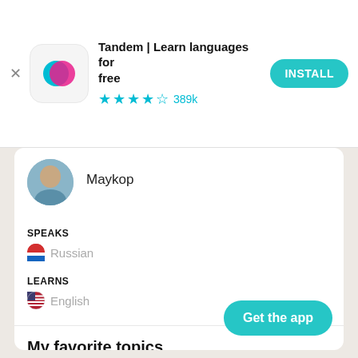[Figure (screenshot): Tandem app advertisement banner with logo, title 'Tandem | Learn languages for free', star rating 4.5 stars 389k reviews, and INSTALL button]
[Figure (photo): User profile avatar photo showing a person in blue]
Maykop
SPEAKS
Russian (with Russian flag icon)
LEARNS
English (with US flag icon)
My favorite topics
Путешествия, туризм, литература...Read more